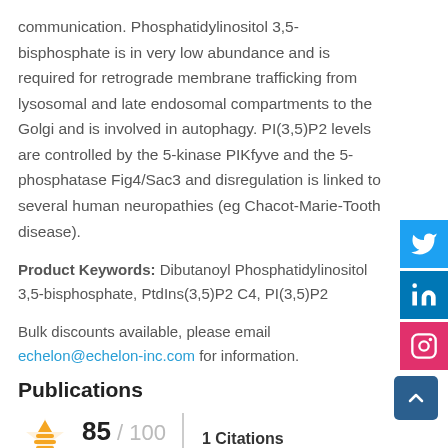communication. Phosphatidylinositol 3,5-bisphosphate is in very low abundance and is required for retrograde membrane trafficking from lysosomal and late endosomal compartments to the Golgi and is involved in autophagy. PI(3,5)P2 levels are controlled by the 5-kinase PIKfyve and the 5-phosphatase Fig4/Sac3 and disregulation is linked to several human neuropathies (eg Chacot-Marie-Tooth disease).
Product Keywords: Dibutanoyl Phosphatidylinositol 3,5-bisphosphate, PtdIns(3,5)P2 C4, PI(3,5)P2
Bulk discounts available, please email echelon@echelon-inc.com for information.
Publications
[Figure (infographic): Bioz rating widget: star logo with score 85/100, Bioz Stars label, vertical divider, 1 Citations]
[Figure (infographic): Scroll to top button (blue square with up chevron)]
[Figure (infographic): Social media sidebar: Twitter (blue), LinkedIn (blue), Instagram (pink) icon buttons]